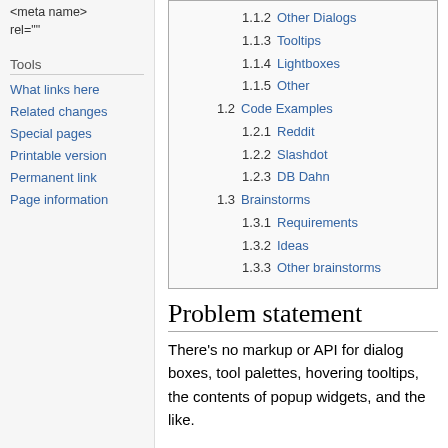<meta name>
rel=""
Tools
What links here
Related changes
Special pages
Printable version
Permanent link
Page information
| 1.1.2 | Other Dialogs |
| 1.1.3 | Tooltips |
| 1.1.4 | Lightboxes |
| 1.1.5 | Other |
| 1.2 | Code Examples |
| 1.2.1 | Reddit |
| 1.2.2 | Slashdot |
| 1.2.3 | DB Dahn |
| 1.3 | Brainstorms |
| 1.3.1 | Requirements |
| 1.3.2 | Ideas |
| 1.3.3 | Other brainstorms |
Problem statement
There's no markup or API for dialog boxes, tool palettes, hovering tooltips, the contents of popup widgets, and the like.